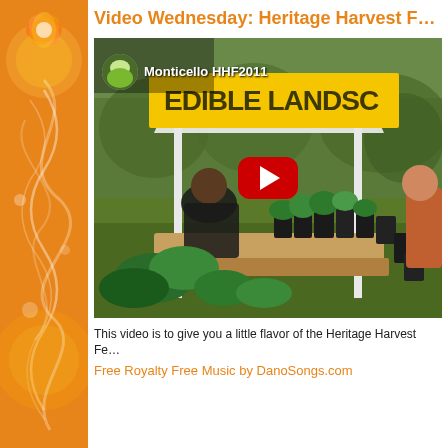Video Wednesday: Heritage Harvest F…
[Figure (screenshot): YouTube video thumbnail showing an outdoor market stall with 'Edible Landscapes' yellow banner, plants in black pots on a hay bale table, a person seated at left, and another person at right. A YouTube play button (red with white triangle) is overlaid in the center. A channel icon and the text 'Monticello HHF2011' appear in the upper left of the video.]
This video is to give you a little flavor of the Heritage Harvest Fe…
Free Royalty Free Music by DanoSongs.com